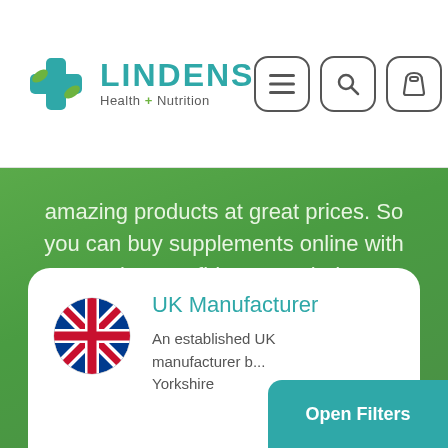LINDENS Health + Nutrition
amazing products at great prices. So you can buy supplements online with complete confidence at Lindens!
[Figure (illustration): UK flag circular icon]
UK Manufacturer
An established UK manufacturer b... Yorkshire